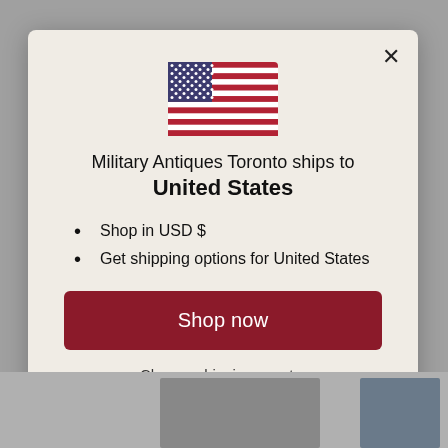[Figure (illustration): US flag SVG illustration centered at top of modal]
Military Antiques Toronto ships to United States
Shop in USD $
Get shipping options for United States
Shop now
Change shipping country
Chat with us